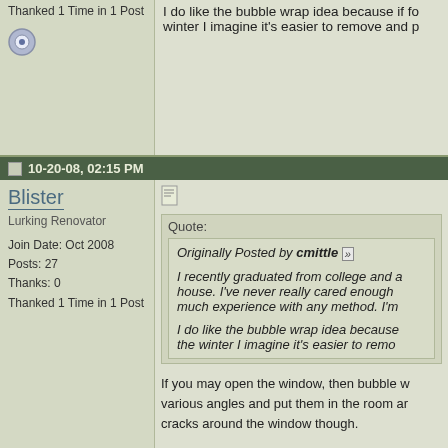Thanked 1 Time in 1 Post
I do like the bubble wrap idea because if for winter I imagine it's easier to remove and p
10-20-08, 02:15 PM
Blister
Lurking Renovator
Join Date: Oct 2008
Posts: 27
Thanks: 0
Thanked 1 Time in 1 Post
Quote:
Originally Posted by cmittle
I recently graduated from college and a house. I've never really cared enough much experience with any method. I'm
I do like the bubble wrap idea because the winter I imagine it's easier to remo
If you may open the window, then bubble w various angles and put them in the room ar cracks around the window though.
If you had enough for a window that wasn't the window and one near the outside face o possible with sunlight warming it up.
I'm not sure it would be easier to remove b would be more effective.